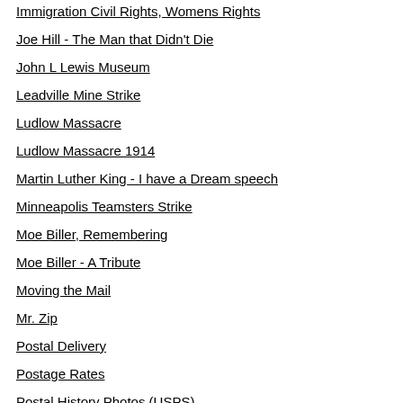Immigration Civil Rights, Womens Rights
Joe Hill - The Man that Didn't Die
John L Lewis Museum
Leadville Mine Strike
Ludlow Massacre
Ludlow Massacre 1914
Martin Luther King - I have a Dream speech
Minneapolis Teamsters Strike
Moe Biller, Remembering
Moe Biller - A Tribute
Moving the Mail
Mr. Zip
Postal Delivery
Postage Rates
Postal History Photos (USPS)
Postal History (wired magazine)
Postal Inspectors
Postal Mechanization